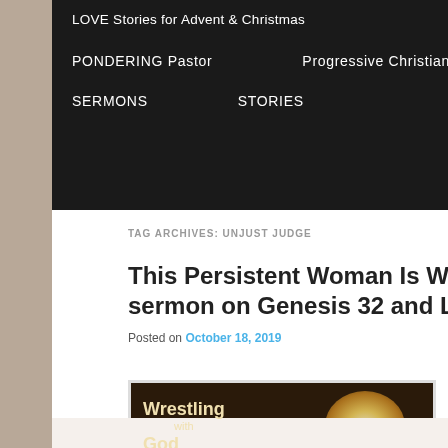LOVE Stories for Advent & Christmas
PONDERING Pastor   Progressive Christianity
SERMONS   STORIES
TAG ARCHIVES: UNJUST JUDGE
This Persistent Woman Is Wearing Me Out – a sermon on Genesis 32 and Luke 18:1-8
Posted on October 18, 2019
[Figure (illustration): Book or media cover titled 'Wrestling with God' with a glowing light figure on dark background]